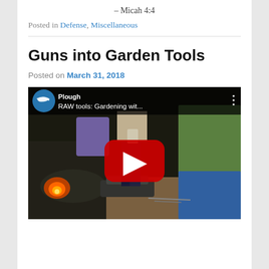– Micah 4:4
Posted in Defense, Miscellaneous
Guns into Garden Tools
Posted on March 31, 2018
[Figure (screenshot): YouTube video thumbnail showing 'RAW tools: Gardening wit...' by Plough channel. Scene shows people working at a forge/anvil with glowing fire visible and a large YouTube play button in the center.]